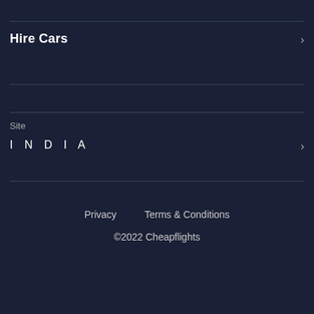Hire Cars
Site
INDIA
Privacy   Terms & Conditions
©2022 Cheapflights